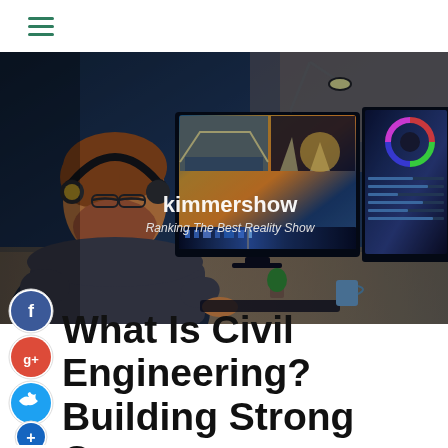≡ (hamburger menu)
[Figure (photo): Person with headphones working at dual monitor setup with video editing software. Overlay text: 'kimmershow / Ranking The Best Reality Show']
What Is Civil Engineering? Building Strong Careers